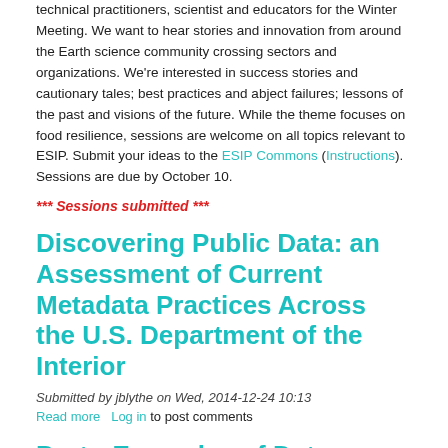technical practitioners, scientist and educators for the Winter Meeting. We want to hear stories and innovation from around the Earth science community crossing sectors and organizations. We're interested in success stories and cautionary tales; best practices and abject failures; lessons of the past and visions of the future. While the theme focuses on food resilience, sessions are welcome on all topics relevant to ESIP. Submit your ideas to the ESIP Commons (Instructions). Sessions are due by October 10.
*** Sessions submitted ***
Discovering Public Data: an Assessment of Current Metadata Practices Across the U.S. Department of the Interior
Submitted by jblythe on Wed, 2014-12-24 10:13
Read more   Log in to post comments
Proto-Examples of Data Assess and